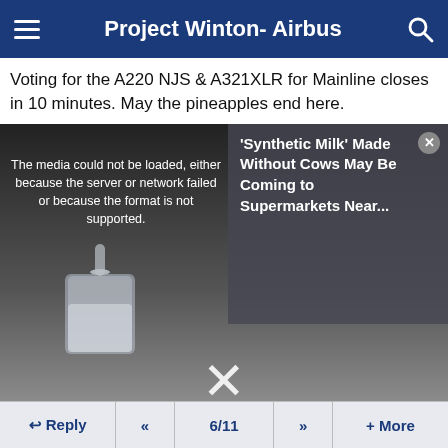Project Winton- Airbus
Voting for the A220 NJS & A321XLR for Mainline closes in 10 minutes. May the pineapples end here.
[Figure (screenshot): Video player showing media load error overlaid on milk being poured image, with an advertisement overlay reading 'Synthetic Milk' Made Without Cows May Be Coming to Supermarkets Near... and a large X close button]
Reply  <<  6/11  >>  + More